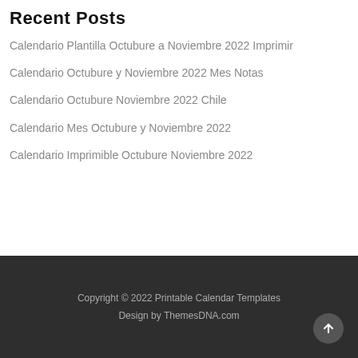Recent Posts
Calendario Plantilla Octubure a Noviembre 2022 Imprimir
Calendario Octubure y Noviembre 2022 Mes Notas
Calendario Octubure Noviembre 2022 Chile
Calendario Mes Octubure y Noviembre 2022
Calendario Imprimible Octubure Noviembre 2022
Copyright © 2022 Printable Calendar Templates
Design by ThemesDNA.com